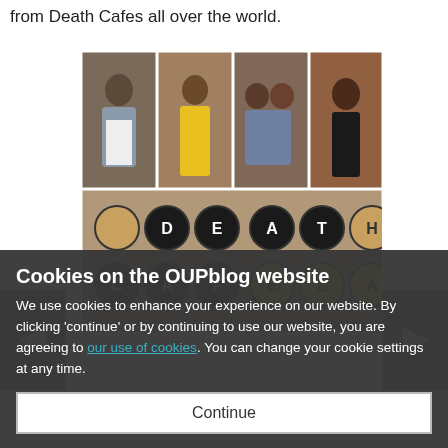from Death Cafes all over the world.
[Figure (photo): A collage of photos from Death Cafe Lagos event: four people in top row (man in vest, woman in yellow dress, two people sitting together, woman smiling), and bottom row showing cupcakes spelling 'DEATH CAFE LAGOS']
Cookies on the OUPblog website
We use cookies to enhance your experience on our website. By clicking 'continue' or by continuing to use our website, you are agreeing to our use of cookies. You can change your cookie settings at any time.
Continue